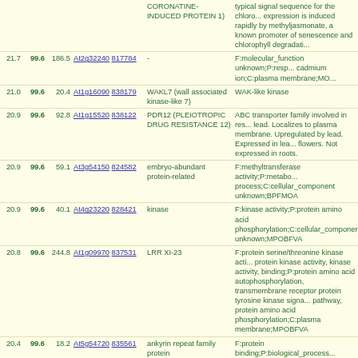| Score | Pct | Value | Gene Links | Name | Description |
| --- | --- | --- | --- | --- | --- |
|  |  |  |  | CORONATINE-INDUCED PROTEIN 1) | typical signal sequence for the chloro... expression is induced rapidly by methyljasmonate, a known promoter of senescence and chlorophyll degradati... |
| 21.7 | 99.6 | 186.5 | At2g32240 817784 | - | F:molecular_function unknown;P:resp... cadmium ion;C:plasma membrane;MO... |
| 21.0 | 99.6 | 20.4 | At1g16090 838179 | WAKL7 (wall associated kinase-like 7) | WAK-like kinase |
| 20.9 | 99.6 | 92.8 | At1g15520 838122 | PDR12 (PLEIOTROPIC DRUG RESISTANCE 12) | ABC transporter family involved in res... lead. Localizes to plasma membrane. Upregulated by lead. Expressed in lea... flowers. Not expressed in roots. |
| 20.9 | 99.6 | 59.1 | At3g54150 824582 | embryo-abundant protein-related | F:methyltransferase activity;P:metabo... process;C:cellular_component unknown;BPFMOA |
| 20.9 | 99.6 | 40.1 | At4g23220 828421 | kinase | F:kinase activity;P:protein amino acid phosphorylation;C:cellular_component unknown;MPOBFVA |
| 20.8 | 99.6 | 244.8 | At1g09970 837531 | LRR XI-23 | F:protein serine/threonine kinase acti... protein kinase activity, kinase activity, binding;P:protein amino acid autophosphorylation, transmembrane receptor protein tyrosine kinase signa... pathway, protein amino acid phosphorylation;C:plasma membrane;MPOBFVA |
| 20.4 | 99.6 | 18.2 | At5g54720 835561 | ankyrin repeat family protein | F:protein binding;P:biological_process... unknown;C:cellular_component unknown;PMOBF |
| 19.6 | 99.6 | 176.9 | At5g05730 830457 | ASA1 (ANTHRANILATE SYNTHASE ALPHA SUBUNIT 1) | ASA1 encodes the alpha subunit of anthranilate synthase, which catalyze... rate-limiting step of tryptophan synthe... ASA1 is induced by ethylene, and for... between ethylene signalling and auxin... synthesis in roots. |
| 19.4 | 99.6 | 113.6 | At5g18470 831965 | curculin-like (mannose-binding) lectin family | F:sugar binding;P:biological_process... unknown;C:plant-type cell wall;P... |